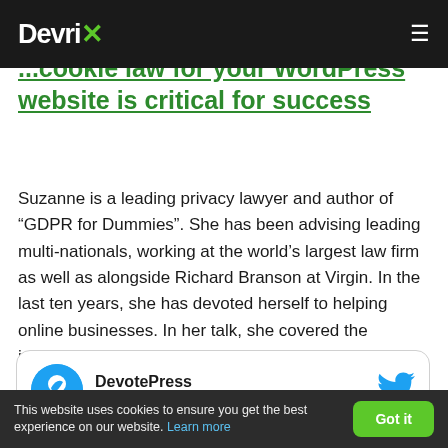DevriX
...Cookie law for your WordPress website is critical for success
Suzanne is a leading privacy lawyer and author of “GDPR for Dummies”. She has been advising leading multi-nationals, working at the world’s largest law firm as well as alongside Richard Branson at Virgin. In the last ten years, she has devoted herself to helping online businesses. In her talk, she covered the impacts of Data Privacy and Cookie Law on WordPress sites.
[Figure (infographic): Tweet card showing DevotePress @devotepress with Follow button and Twitter bird icon]
This website uses cookies to ensure you get the best experience on our website. Learn more